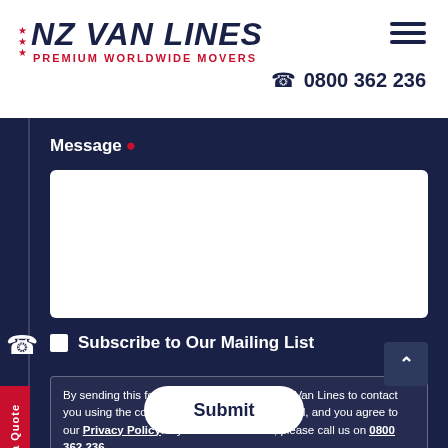[Figure (logo): NZ Van Lines logo with stars, 'NZ VAN LINES' in dark navy italic bold, 'PREMIUM WORLDWIDE MOVERS' in red below]
0800 362 236
Message *
Subscribe to Our Mailing List
By sending this form, you give consent to NZ Van Lines to contact you using the contact details you have provided, and you agree to our Privacy Policy. If you do not consent, please call us on 0800 362 236
Get a Quote
Submit